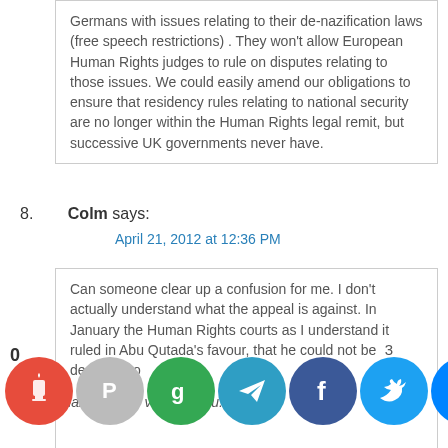Germans with issues relating to their de-nazification laws (free speech restrictions) . They won't allow European Human Rights judges to rule on disputes relating to those issues. We could easily amend our obligations to ensure that residency rules relating to national security are no longer within the Human Rights legal remit, but successive UK governments never have.
8. Colm says:
April 21, 2012 at 12:36 PM
Can someone clear up a confusion for me. I don't actually understand what the appeal is against. In January the Human Rights courts as I understand it ruled in Abu Qutada's favour, that he could not be deported to
3
to the
Thank you for visiting. You...
[Figure (infographic): Row of social media sharing icon circles: red torch/cup icon, gray Parler icon, green Google icon, blue Telegram icon, dark blue Facebook icon, light blue Twitter icon, blue Messenger icon, green SMS icon, green email icon, dark search icon, and a red scroll-up button. A badge showing 0 appears at bottom left.]